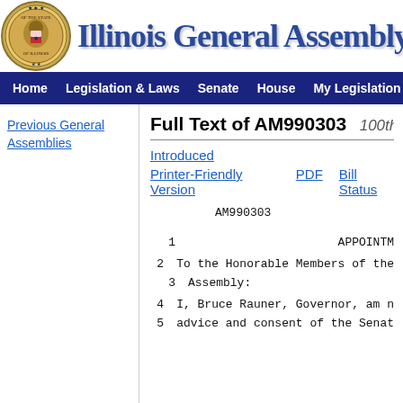[Figure (logo): Illinois state seal circular emblem]
Illinois General Assembly
Home  Legislation & Laws  Senate  House  My Legislation  Site Map
Previous General Assemblies
Full Text of AM990303  100th General Assembly
Introduced
Printer-Friendly Version  PDF  Bill Status
AM990303
1    APPOINTM
2    To the Honorable Members of the
3    Assembly:
4    I, Bruce Rauner, Governor, am n
5    advice and consent of the Senat